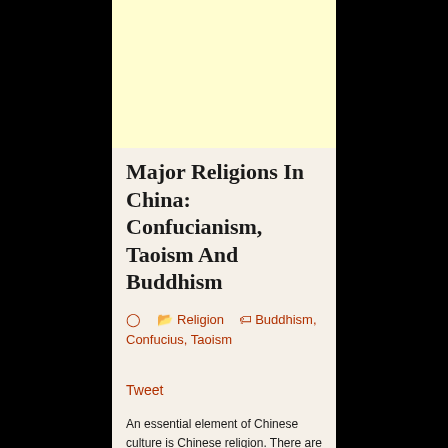[Figure (other): Light yellow advertisement banner placeholder at the top of the page]
Major Religions In China: Confucianism, Taoism And Buddhism
Religion  Buddhism, Confucius, Taoism
Tweet
An essential element of Chinese culture is Chinese religion. There are several religions that are practiced in China. Two of these are